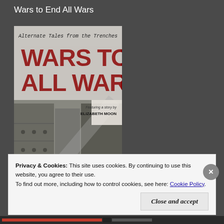Wars to End All Wars
[Figure (illustration): Book cover for 'Wars to End All Wars: Alternate Tales from the Trenches' featuring a story by Elizabeth Moon. Red distressed block lettering on a grey background with WWI-style imagery of soldiers/trenches below.]
Privacy & Cookies: This site uses cookies. By continuing to use this website, you agree to their use.
To find out more, including how to control cookies, see here: Cookie Policy
Close and accept